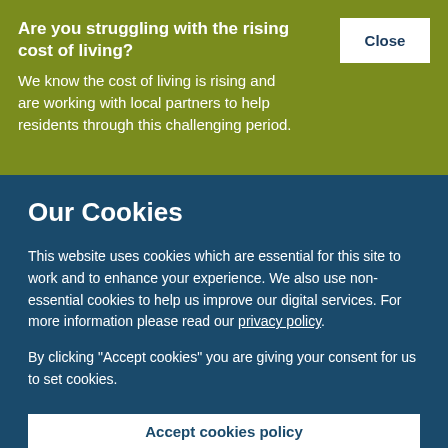Are you struggling with the rising cost of living?
We know the cost of living is rising and are working with local partners to help residents through this challenging period.
Our Cookies
This website uses cookies which are essential for this site to work and to enhance your experience. We also use non-essential cookies to help us improve our digital services. For more information please read our privacy policy.
By clicking "Accept cookies" you are giving your consent for us to set cookies.
Accept cookies policy